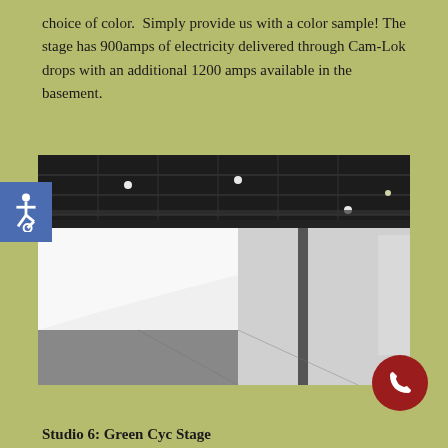choice of color.  Simply provide us with a color sample! The stage has 900amps of electricity delivered through Cam-Lok drops with an additional 1200 amps available in the basement.
[Figure (photo): Interior of a large photography/film studio with a white cyclorama (cyc) wall and floor sweep, black industrial ceiling with grid rigging, steel support columns, and studio lighting fixtures.]
Studio 6: Green Cyc Stage